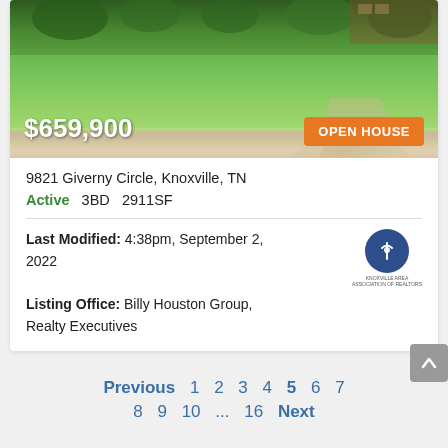[Figure (photo): Exterior photo of a house with green lawn, shrubs, and a brick/stone pathway. Price $659,900 shown in white text bottom-left. Orange 'OPEN HOUSE' button bottom-right.]
9821 Giverny Circle, Knoxville, TN
Active  3BD  2911SF
Last Modified: 4:38pm, September 2, 2022
Listing Office: Billy Houston Group, Realty Executives
Previous  1  2  3  4  5  6  7  8  9  10  ...  16  Next